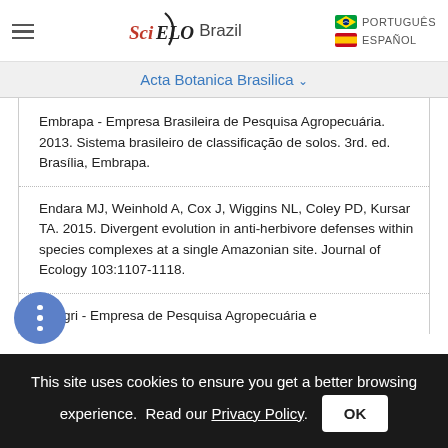SciELO Brazil | PORTUGUÊS | ESPAÑOL
Acta Botanica Brasilica
Embrapa - Empresa Brasileira de Pesquisa Agropecuária. 2013. Sistema brasileiro de classificação de solos. 3rd. ed. Brasília, Embrapa.
Endara MJ, Weinhold A, Cox J, Wiggins NL, Coley PD, Kursar TA. 2015. Divergent evolution in anti-herbivore defenses within species complexes at a single Amazonian site. Journal of Ecology 103:1107-1118.
Epagri - Empresa de Pesquisa Agropecuária e
This site uses cookies to ensure you get a better browsing experience. Read our Privacy Policy.